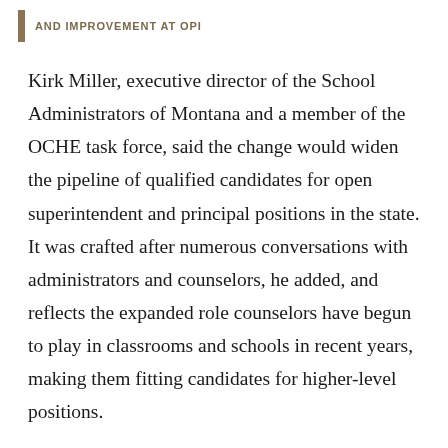AND IMPROVEMENT AT OPI
Kirk Miller, executive director of the School Administrators of Montana and a member of the OCHE task force, said the change would widen the pipeline of qualified candidates for open superintendent and principal positions in the state. It was crafted after numerous conversations with administrators and counselors, he added, and reflects the expanded role counselors have begun to play in classrooms and schools in recent years, making them fitting candidates for higher-level positions.
“In instances nowadays, which is different than in the past, the counselor actually does spend a lot of